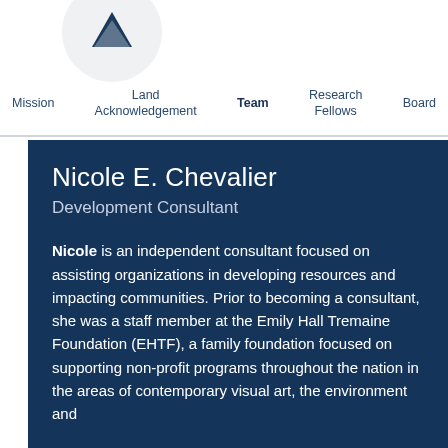Mission | Land Acknowledgement | Team | Research Fellows | Board
Nicole E. Chevalier
Development Consultant
Nicole is an independent consultant focused on assisting organizations in developing resources and impacting communities. Prior to becoming a consultant, she was a staff member at the Emily Hall Tremaine Foundation (EHTF), a family foundation focused on supporting non-profit programs throughout the nation in the areas of contemporary visual art, the environment and learning disabilities.